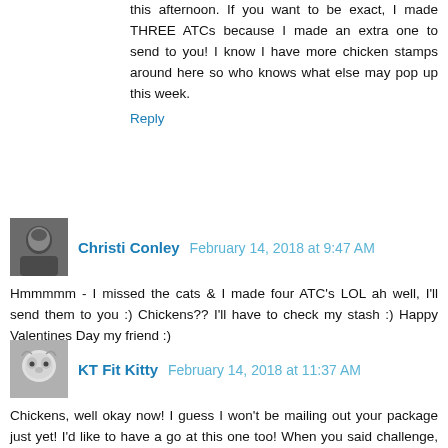this afternoon. If you want to be exact, I made THREE ATCs because I made an extra one to send to you! I know I have more chicken stamps around here so who knows what else may pop up this week.
Reply
Christi Conley  February 14, 2018 at 9:47 AM
Hmmmmm - I missed the cats & I made four ATC's LOL ah well, I'll send them to you :) Chickens?? I'll have to check my stash :) Happy Valentines Day my friend :)
Reply
KT Fit Kitty  February 14, 2018 at 11:37 AM
Chickens, well okay now! I guess I won't be mailing out your package just yet! I'd like to have a go at this one too! When you said challenge, you meant challenge! I'll see what I can come up with! Your ATC's are gorgeous! I really love the first one - the embossing looks amazing and I love the cute sentiment! The second one is cute too - love the